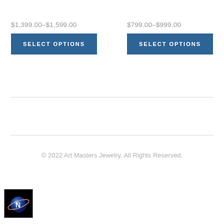$1,399.00–$1,599.00
$799.00–$999.00
SELECT OPTIONS
SELECT OPTIONS
© 2022 Art Masters Jewelry. All Rights Reserved.
[Figure (logo): Art Masters Jewelry logo — dark circular emblem with planet/ring graphic on black background]